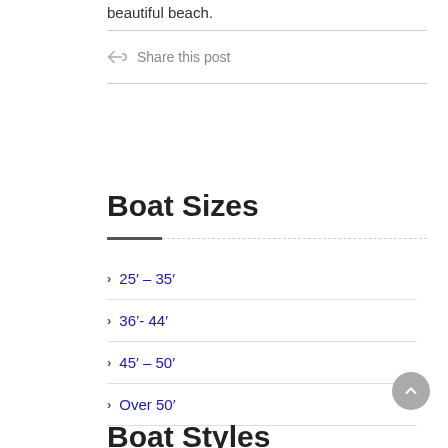beautiful beach.
Share this post
Boat Sizes
25′ – 35′
36'- 44′
45′ – 50′
Over 50′
Boat Styles